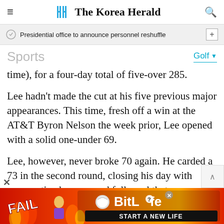The Korea Herald
Presidential office to announce personnel reshuffle
Sports
Golf
time), for a four-day total of five-over 285.
Lee hadn't made the cut at his five previous major appearances. This time, fresh off a win at the AT&T Byron Nelson the week prior, Lee opened with a solid one-under 69.
Lee, however, never broke 70 again. He carded a 73 in the second round, closing his day with consecutive bogeys, and followed that up
[Figure (advertisement): BitLife mobile game advertisement with FAIL text, character, flames, and START A NEW LIFE tagline]